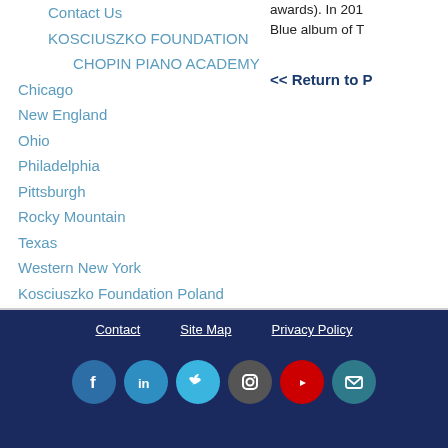Contact Us
KOSCIUSZKO FOUNDATION
CHOPIN PIANO ACADEMY
Chicago
New England
Ohio
Philadelphia
Pittsburgh
Rocky Mountain
Texas
Western New York
Kosciuszko Foundation Poland
awards). In 201... Blue album of T...
<< Return to P...
Contact   Site Map   Privacy Policy
[Figure (other): Social media icons row: Facebook, LinkedIn, Twitter, Instagram, YouTube, Email]